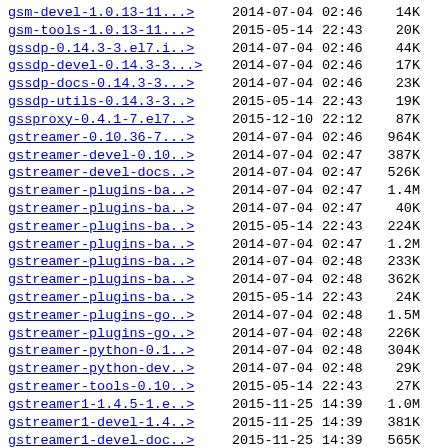gsm-devel-1.0.13-11...>  2014-07-04  02:46   14K
gsm-tools-1.0.13-11...>  2015-05-14  22:43   20K
gssdp-0.14.3-3.el7.i..>  2014-07-04  02:46   44K
gssdp-devel-0.14.3-3...>  2014-07-04  02:46   17K
gssdp-docs-0.14.3-3...>  2014-07-04  02:46   23K
gssdp-utils-0.14.3-3..>  2015-05-14  22:43   19K
gssproxy-0.4.1-7.el7..>  2015-12-10  22:12   87K
gstreamer-0.10.36-7...>  2014-07-04  02:46  964K
gstreamer-devel-0.10..>  2014-07-04  02:47  387K
gstreamer-devel-docs..>  2014-07-04  02:47  526K
gstreamer-plugins-ba..>  2014-07-04  02:47  1.4M
gstreamer-plugins-ba..>  2014-07-04  02:47   40K
gstreamer-plugins-ba..>  2015-05-14  22:43  224K
gstreamer-plugins-ba..>  2014-07-04  02:47  1.2M
gstreamer-plugins-ba..>  2014-07-04  02:48  233K
gstreamer-plugins-ba..>  2014-07-04  02:48  362K
gstreamer-plugins-ba..>  2015-05-14  22:43   24K
gstreamer-plugins-go..>  2014-07-04  02:48  1.5M
gstreamer-plugins-go..>  2014-07-04  02:48  226K
gstreamer-python-0.1..>  2014-07-04  02:48  304K
gstreamer-python-dev..>  2014-07-04  02:48   29K
gstreamer-tools-0.10..>  2015-05-14  22:43   27K
gstreamer1-1.4.5-1.e..>  2015-11-25  14:39  1.0M
gstreamer1-devel-1.4..>  2015-11-25  14:39  381K
gstreamer1-devel-doc..>  2015-11-25  14:39  565K
gstreamer1-plugins-b..>  2015-11-25  14:39  1.4M
gstreamer1-plugins-b..>  2015-11-25  14:39  323K
gstreamer1-plugins-b..>  2015-11-25  14:39  1.2M
gstreamer1-plugins-b..>  2015-11-25  14:39  256K
gstreamer1-plugins-b..>  2015-11-25  14:39  385K